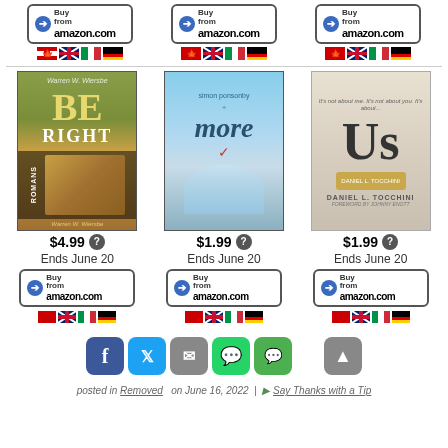[Figure (screenshot): Top row of three Amazon buy buttons with flag icons (Canada, UK, Italy, Germany) for three book listings]
[Figure (photo): Book cover: 'Be Right' by Warren W. Wiersbe, Romans series]
$4.99
Ends June 20
[Figure (photo): Buy from amazon.com button with flags]
[Figure (photo): Book cover: 'more' by Simon Ponsonby]
$1.99
Ends June 20
[Figure (photo): Buy from amazon.com button with flags]
[Figure (photo): Book cover: 'Us' by Daniel L. Tocchini]
$1.99
Ends June 20
[Figure (photo): Buy from amazon.com button with flags]
[Figure (screenshot): Social sharing buttons: Facebook, Twitter, Email, WhatsApp, SMS; and a scroll-to-top button]
posted in Removed   on June 16, 2022  |  Say Thanks with a Tip